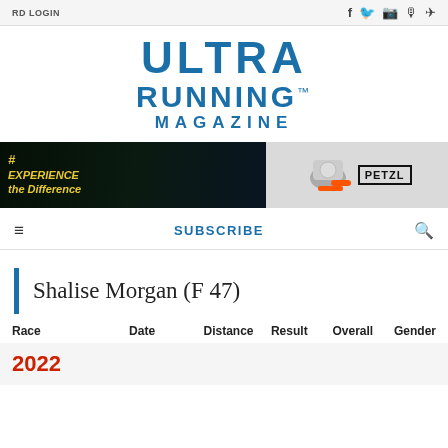RD LOGIN
[Figure (logo): Ultra Running Magazine logo in blue text]
[Figure (photo): Petzl advertisement banner: Experience the Difference — headlamp products]
SUBSCRIBE
Shalise Morgan (F 47)
| Race | Date | Distance | Result | Overall | Gender |
| --- | --- | --- | --- | --- | --- |
| 2022 |  |  |  |  |  |